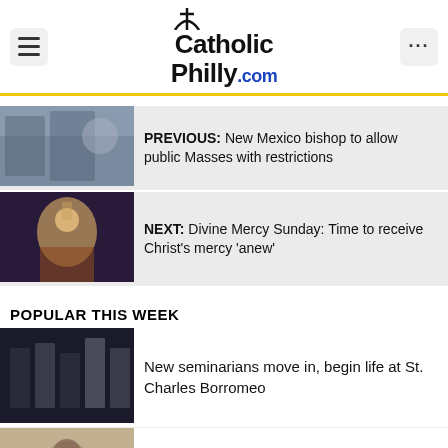CatholicPhilly.com
PREVIOUS: New Mexico bishop to allow public Masses with restrictions
NEXT: Divine Mercy Sunday: Time to receive Christ's mercy 'anew'
POPULAR THIS WEEK
New seminarians move in, begin life at St. Charles Borromeo
From piano to priesthood, and now